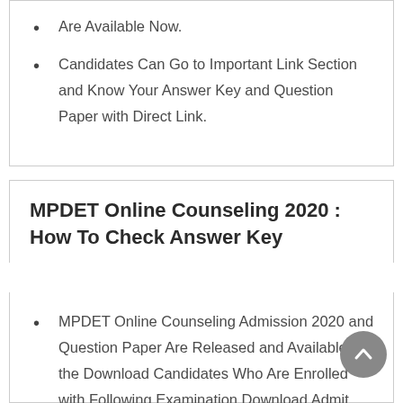Are Available Now.
Candidates Can Go to Important Link Section and Know Your Answer Key and Question Paper with Direct Link.
MPDET Online Counseling 2020 : How To Check Answer Key
MPDET Online Counseling Admission 2020 and Question Paper Are Released and Available for the Download Candidates Who Are Enrolled with Following Examination Download Admit Card required to go to